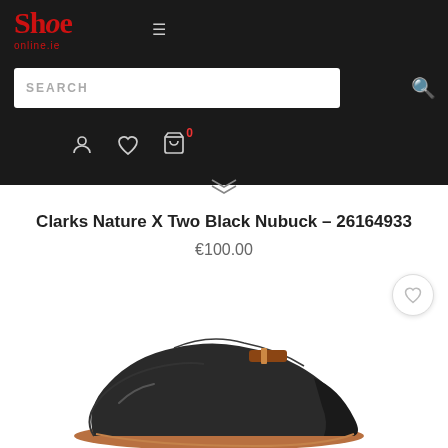Shoe Online.ie — Navigation header with logo, search bar, and icons
Clarks Nature X Two Black Nubuck – 26164933
€100.00
[Figure (photo): Partial view of a dark brown/black nubuck shoe (Clarks Nature X Two) with a lighter brown sole, shot from a low angle showing the front and side of the shoe.]